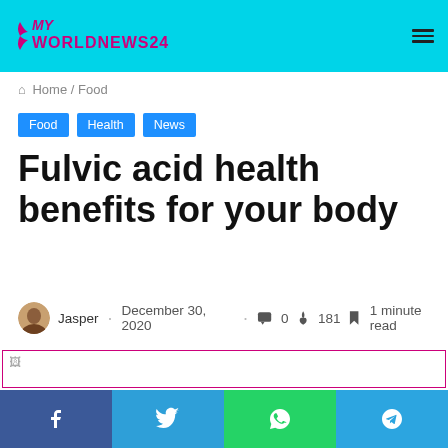MY WORLDNEWS24
Home / Food
Food
Health
News
Fulvic acid health benefits for your body
Jasper · December 30, 2020 · 0 · 181 · 1 minute read
[Figure (photo): Image placeholder with broken image icon, outlined in purple/magenta border]
Facebook Twitter WhatsApp Telegram social share buttons